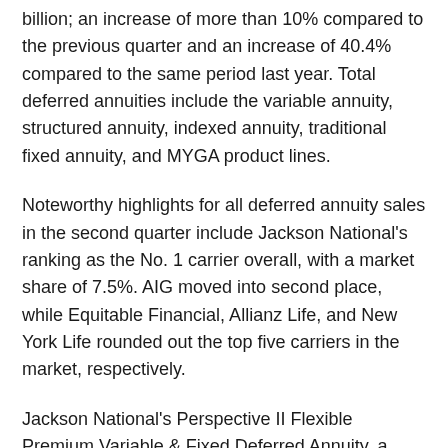billion; an increase of more than 10% compared to the previous quarter and an increase of 40.4% compared to the same period last year. Total deferred annuities include the variable annuity, structured annuity, indexed annuity, traditional fixed annuity, and MYGA product lines.
Noteworthy highlights for all deferred annuity sales in the second quarter include Jackson National's ranking as the No. 1 carrier overall, with a market share of 7.5%. AIG moved into second place, while Equitable Financial, Allianz Life, and New York Life rounded out the top five carriers in the market, respectively.
Jackson National's Perspective II Flexible Premium Variable & Fixed Deferred Annuity, a variable annuity, was the top-selling deferred annuity, for all channels combined in overall sales for the tenth consecutive quarter.